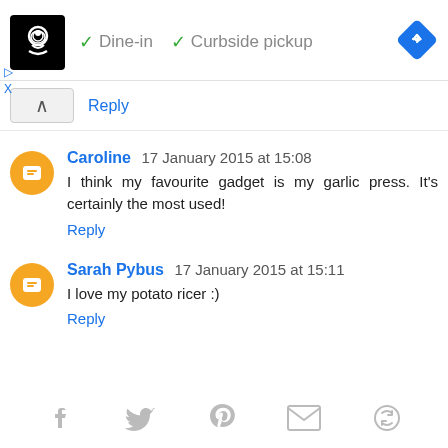[Figure (screenshot): Ad banner with restaurant logo, checkmarks for Dine-in and Curbside pickup, and a blue navigation diamond icon]
▷
X
^ Reply
Caroline  17 January 2015 at 15:08
I think my favourite gadget is my garlic press. It's certainly the most used!
Reply
Sarah Pybus  17 January 2015 at 15:11
I love my potato ricer :)
Reply
[Figure (screenshot): Social sharing icons: Facebook, Twitter, Pinterest, Email, and a circular refresh/share icon]